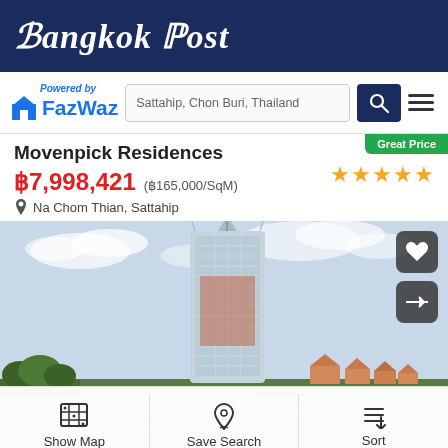Bangkok Post
Powered by FazWaz — Search: Sattahip, Chon Buri, Thailand
Movenpick Residences
฿7,998,421 (฿165,000/SqM)
Na Chom Thian, Sattahip
[Figure (photo): Exterior photo of Movenpick Residences tower — a tall modern glass skyscraper on a beachfront with blue sky and sea in the foreground]
Show Map | Save Search | Sort